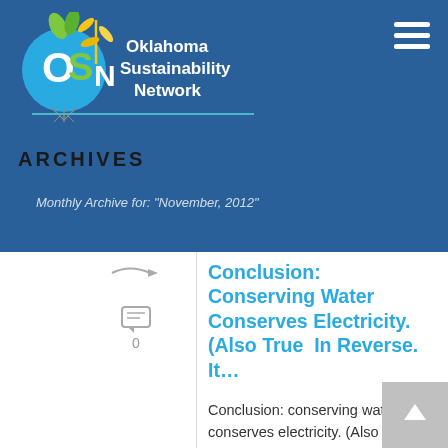[Figure (logo): Oklahoma Sustainability Network (OSN) logo with blue circle, green leaves, and yellow windmill icon, plus organization name in white text]
ARCHIVES
Monthly Archive for: "November, 2012"
Conclusion: Conserving Water Conserves Electricity. (Also True  In Reverse.  It…
Conclusion: conserving water conserves electricity. (Also true in